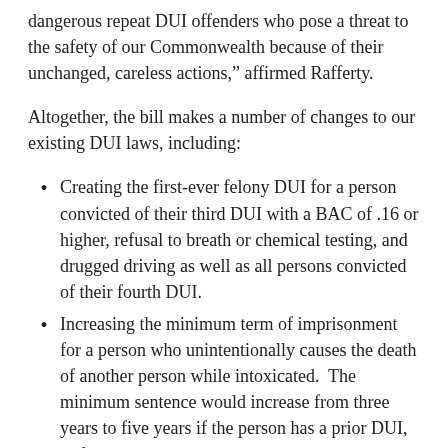“We must send a stronger message to these dangerous repeat DUI offenders who pose a threat to the safety of our Commonwealth because of their unchanged, careless actions,” affirmed Rafferty.
Altogether, the bill makes a number of changes to our existing DUI laws, including:
Creating the first-ever felony DUI for a person convicted of their third DUI with a BAC of .16 or higher, refusal to breath or chemical testing, and drugged driving as well as all persons convicted of their fourth DUI.
Increasing the minimum term of imprisonment for a person who unintentionally causes the death of another person while intoxicated.  The minimum sentence would increase from three years to five years if the person has a prior DUI, and